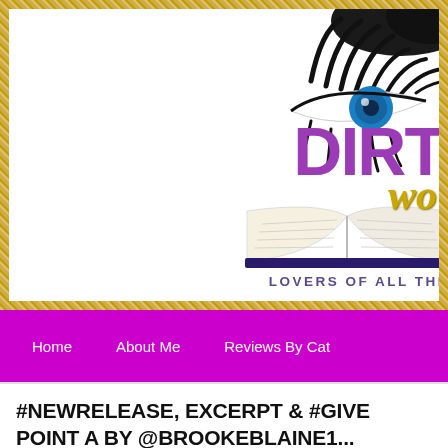[Figure (logo): Dirty Words blog logo with a stylized eye with blue iris and dramatic black eyelashes, purple text 'DIRT' partially visible, gold glitter script, an open book illustration, and text 'LOVERS OF ALL THI...' in purple. Set inside a gold glitter border frame on white background.]
Home   About Me   Reviews By Cat
#NEWRELEASE, EXCERPT & #GIVE... POINT A BY @BROOKEBLAINE1...